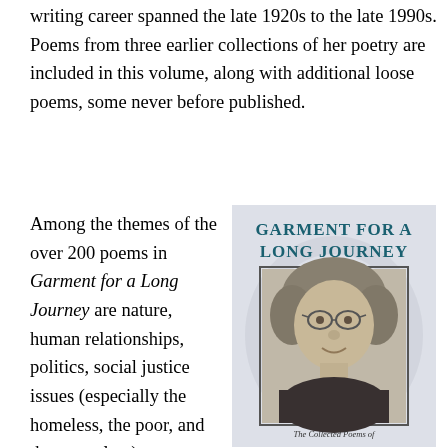writing career spanned the late 1920s to the late 1990s. Poems from three earlier collections of her poetry are included in this volume, along with additional loose poems, some never before published.
Among the themes of the over 200 poems in Garment for a Long Journey are nature, human relationships, politics, social justice issues (especially the homeless, the poor, and the powerless),
[Figure (photo): Book cover of 'Garment for a Long Journey' showing the title in teal bold uppercase letters and a black-and-white portrait photo of an elderly woman with glasses and short curly hair, with a caption below the photo. Background has a light watermark design.]